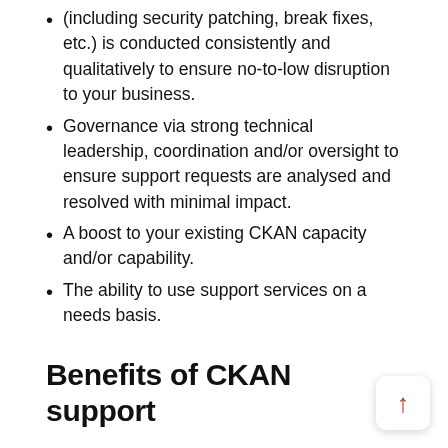(including security patching, break fixes, etc.) is conducted consistently and qualitatively to ensure no-to-low disruption to your business.
Governance via strong technical leadership, coordination and/or oversight to ensure support requests are analysed and resolved with minimal impact.
A boost to your existing CKAN capacity and/or capability.
The ability to use support services on a needs basis.
Benefits of CKAN support
CKAN support delivers the following benefits:
Confidence— peace of mind, knowing operational issues will be addressed and resolved.